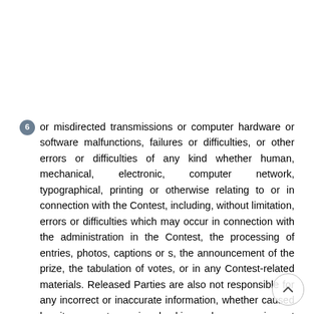6 or misdirected transmissions or computer hardware or software malfunctions, failures or difficulties, or other errors or difficulties of any kind whether human, mechanical, electronic, computer network, typographical, printing or otherwise relating to or in connection with the Contest, including, without limitation, errors or difficulties which may occur in connection with the administration in the Contest, the processing of entries, photos, captions or s, the announcement of the prize, the tabulation of votes, or in any Contest-related materials. Released Parties are also not responsible for any incorrect or inaccurate information, whether caused by site users, tampering, hacking or by any equipment or programming associated with or utilized in the Contest. Sponsor is not responsible for injury or damage to entrants or to any other person s computer related to or resulting from participating in the